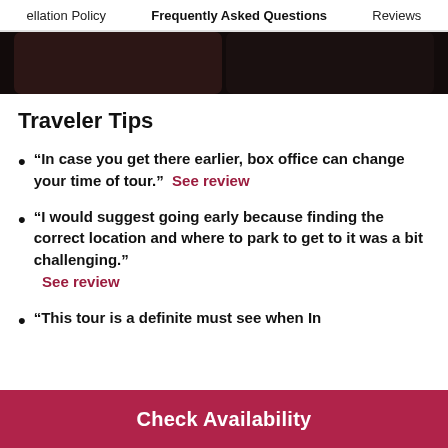ellation Policy    Frequently Asked Questions    Reviews
[Figure (photo): Dark strip showing two photo thumbnails from a tour, with rounded corners on dark background]
Traveler Tips
“In case you get there earlier, box office can change your time of tour.”  See review
“I would suggest going early because finding the correct location and where to park to get to it was a bit challenging.”  See review
“This tour is a definite must see when In
Check Availability